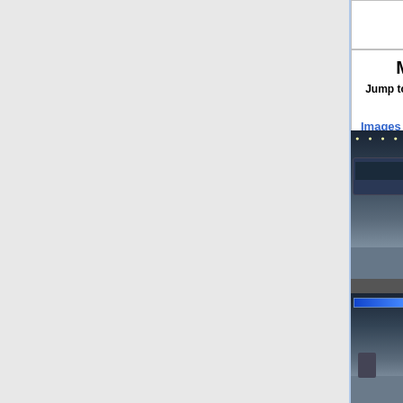| German Suplex |
| --- |
Mary Spider
Jump toward the opponent then j.236C
Images | Hitboxes
[Figure (screenshot): Two-panel screenshot from a fighting game showing Mary Spider move hitboxes. Top panel shows a character performing a jump move with yellow and blue hitbox overlays. Bottom panel shows a street stage with another frame of the move.]
| Version | Damage | S |
| --- | --- | --- |
| Hop | 28 |  |
| Version | Damage | S |
| --- | --- | --- |
| Jump | 28 |  |